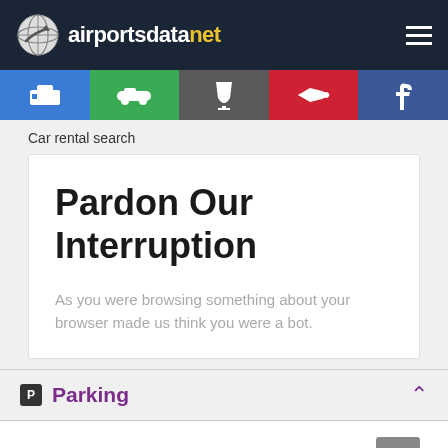airportsdatanet
[Figure (screenshot): Navigation icon bar with hotel, car, cocktail, airplane, and Facebook icons]
Car rental search
Pardon Our Interruption
As you were browsing something about your browser made us think you were a bot.
Parking
Parking services at Matamoros airport (MAM)